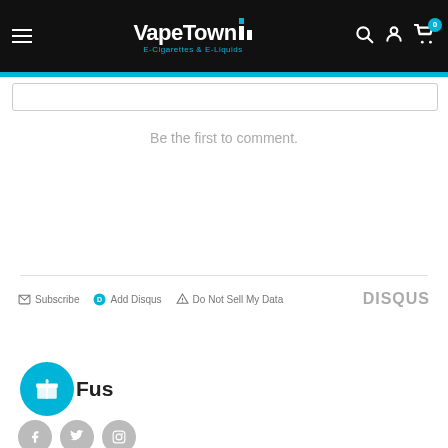[Figure (screenshot): VapeTown E-Cigarettes & E-Liquids site header with logo, menu icon, search icon, account icon, and cart icon with badge showing 0]
Be the first to comment.
Subscribe  Add Disqus  Do Not Sell My Data  DISQUS
Follow us
[Figure (illustration): Social media icons: Facebook, Twitter, Instagram]